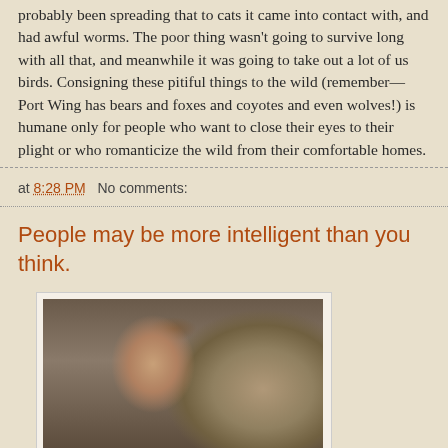probably been spreading that to cats it came into contact with, and had awful worms. The poor thing wasn't going to survive long with all that, and meanwhile it was going to take out a lot of us birds. Consigning these pitiful things to the wild (remember—Port Wing has bears and foxes and coyotes and even wolves!) is humane only for people who want to close their eyes to their plight or who romanticize the wild from their comfortable homes.
at 8:28 PM   No comments:
People may be more intelligent than you think.
[Figure (photo): A person's face close-up appearing to nuzzle or interact closely with a small gray bird (appears to be a young bird or chick), both in profile view. Warm indoor background visible.]